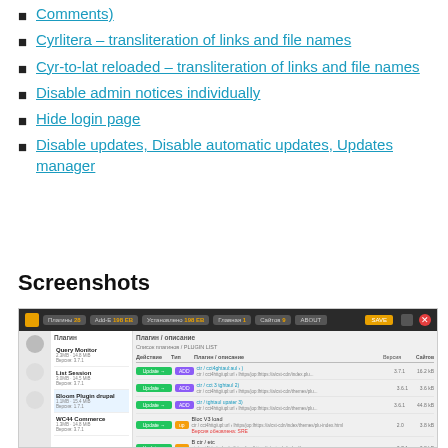Comments)
Cyrlitera – transliteration of links and file names
Cyr-to-lat reloaded – transliteration of links and file names
Disable admin notices individually
Hide login page
Disable updates, Disable automatic updates, Updates manager
Screenshots
[Figure (screenshot): Screenshot of a WordPress plugin management interface showing a dark top navigation bar and a list of plugins with update/install buttons, version numbers, and file sizes.]